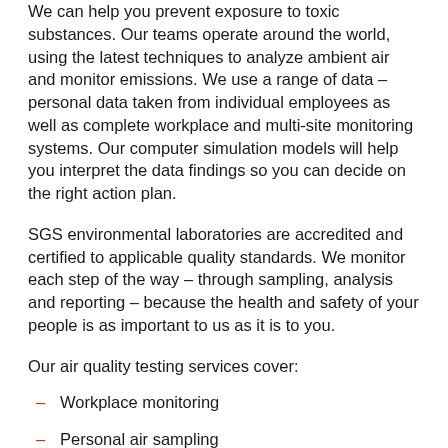We can help you prevent exposure to toxic substances. Our teams operate around the world, using the latest techniques to analyze ambient air and monitor emissions. We use a range of data – personal data taken from individual employees as well as complete workplace and multi-site monitoring systems. Our computer simulation models will help you interpret the data findings so you can decide on the right action plan.
SGS environmental laboratories are accredited and certified to applicable quality standards. We monitor each step of the way – through sampling, analysis and reporting – because the health and safety of your people is as important to us as it is to you.
Our air quality testing services cover:
Workplace monitoring
Personal air sampling